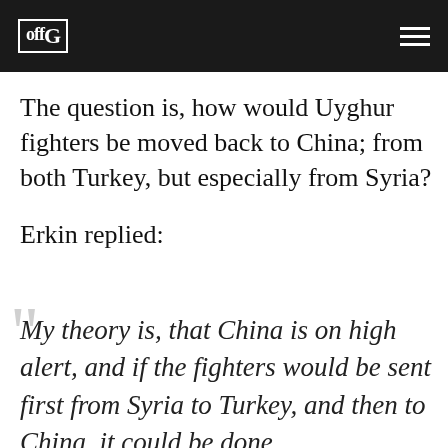offG
The question is, how would Uyghur fighters be moved back to China; from both Turkey, but especially from Syria?
Erkin replied:
My theory is, that China is on high alert, and if the fighters would be sent first from Syria to Turkey, and then to China, it could be done